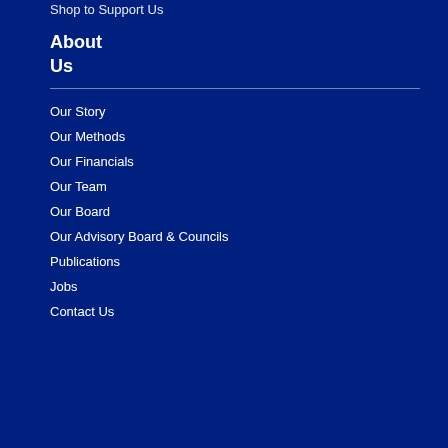Shop to Support Us
About Us
Our Story
Our Methods
Our Financials
Our Team
Our Board
Our Advisory Board & Councils
Publications
Jobs
Contact Us